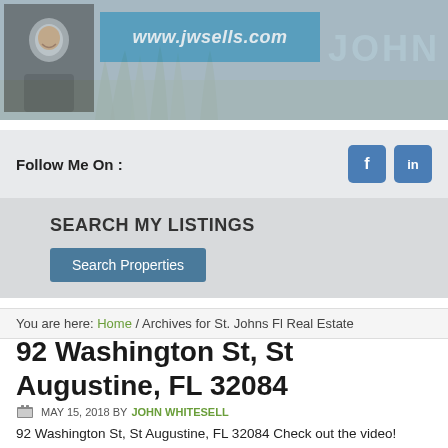[Figure (photo): Real estate agent website header with profile photo, www.jwsells.com URL box, and JOHN text watermark on background landscape]
Follow Me On :
[Figure (logo): Facebook icon button (f)]
[Figure (logo): LinkedIn icon button (in)]
SEARCH MY LISTINGS
Search Properties
You are here: Home / Archives for St. Johns Fl Real Estate
92 Washington St, St Augustine, FL 32084
MAY 15, 2018 BY JOHN WHITESELL
92 Washington St, St Augustine, FL 32084 Check out the video! https://fusion.realtourvision.com/969931 If you are ...